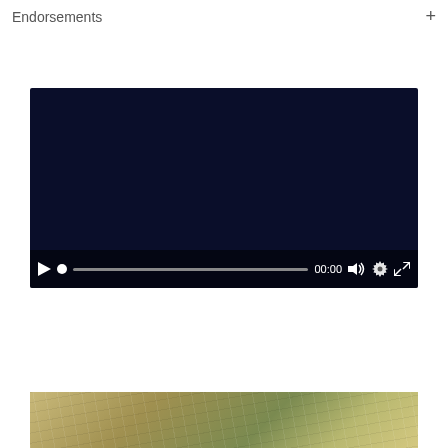Endorsements
[Figure (screenshot): Video player with dark navy background showing paused state. Controls bar at bottom includes: play button (triangle), progress dot, progress bar, time display '00:00', volume icon, settings gear icon, and fullscreen icon.]
[Figure (photo): Partial photo at the bottom of the page showing what appears to be a close-up of a food item or natural surface with yellowish-green tones, olive colors, and organic textures.]